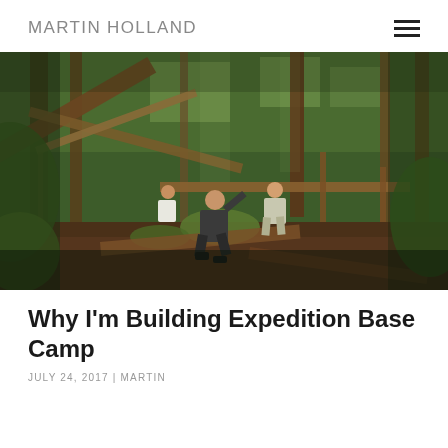MARTIN HOLLAND
[Figure (photo): Two people in a dense jungle forest, working on building a wooden structure or shelter amid trees, logs, and lush green vegetation.]
Why I’m Building Expedition Base Camp
JULY 24, 2017 | MARTIN